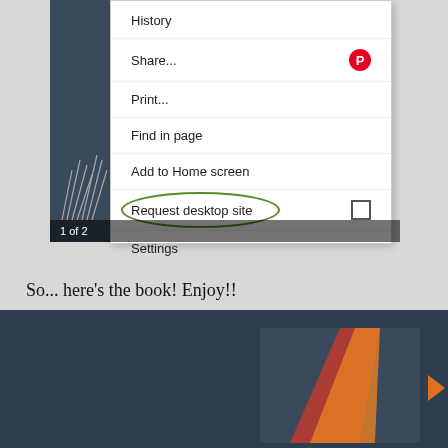[Figure (screenshot): Mobile browser dropdown menu screenshot showing items: History, Share... (with Pinterest icon), Print..., Find in page, Add to Home screen, Request desktop site (circled in green oval with checkbox), Settings. Bottom shows navigation bar with '1 of 2'. Left side shows dark panel with decorative grass/line art.]
So... here's the book! Enjoy!!
[Figure (photo): Dark navy background with partial view of a book cover featuring orange and red diagonal graphic elements, and an orange arrow pointing right on the far right edge.]